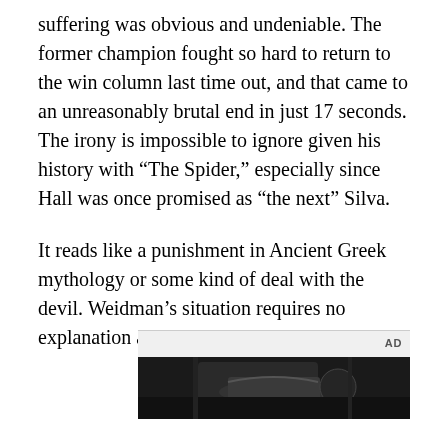suffering was obvious and undeniable. The former champion fought so hard to return to the win column last time out, and that came to an unreasonably brutal end in just 17 seconds. The irony is impossible to ignore given his history with “The Spider,” especially since Hall was once promised as “the next” Silva.
It reads like a punishment in Ancient Greek mythology or some kind of deal with the devil. Weidman’s situation requires no explanation as to how he has been cursed.
[Figure (photo): Advertisement area with dark photo showing a hand holding or touching a steering wheel or bar, partially cropped at bottom of page.]